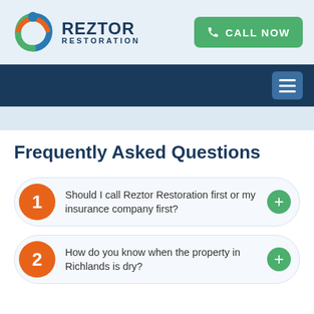[Figure (logo): Reztor Restoration logo with phoenix-style swoosh icon in blue, green, and orange, with company name 'REZTOR RESTORATION' in dark navy text]
[Figure (other): Green 'CALL NOW' button with phone icon]
[Figure (other): Dark navy navigation bar with blue hamburger menu icon on right]
Frequently Asked Questions
Should I call Reztor Restoration first or my insurance company first?
How do you know when the property in Richlands is dry?